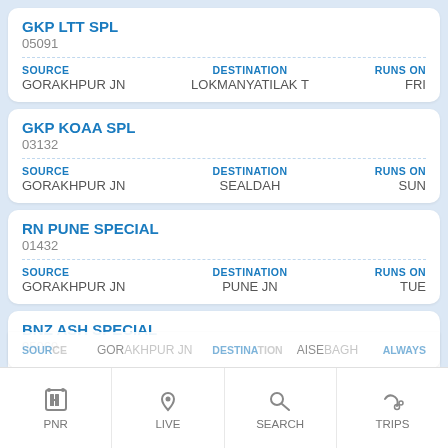| Train Name | Train No | Source | Destination | Runs On |
| --- | --- | --- | --- | --- |
| GKP LTT SPL | 05091 | GORAKHPUR JN | LOKMANYATILAK T | FRI |
| GKP KOAA SPL | 03132 | GORAKHPUR JN | SEALDAH | SUN |
| RN PUNE SPECIAL | 01432 | GORAKHPUR JN | PUNE JN | TUE |
| BNZ ASH SPECIAL | 05069 | GORAKHPUR JN | AISEBAGH |  |
[Figure (screenshot): Bottom navigation bar with PNR, LIVE, SEARCH, TRIPS icons]